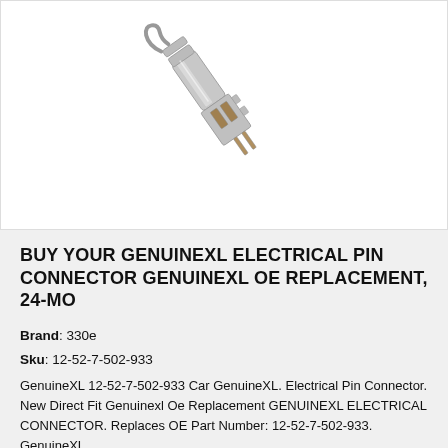[Figure (photo): A silver metallic electrical pin connector, shown at an angle on a white background. The connector appears to be a small crimp-style terminal pin.]
BUY YOUR GENUINEXL ELECTRICAL PIN CONNECTOR GENUINEXL OE REPLACEMENT, 24-MO
Brand: 330e
Sku: 12-52-7-502-933
GenuineXL 12-52-7-502-933 Car GenuineXL. Electrical Pin Connector. New Direct Fit Genuinexl Oe Replacement GENUINEXL ELECTRICAL CONNECTOR. Replaces OE Part Number: 12-52-7-502-933. GenuineXL...